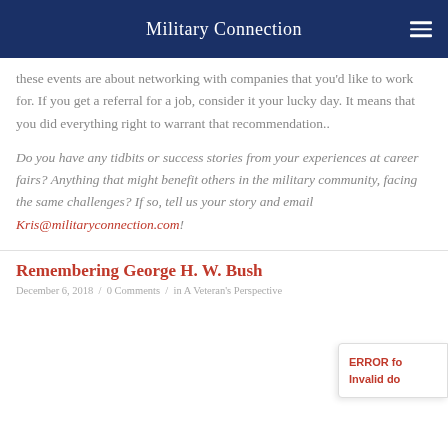Military Connection
these events are about networking with companies that you'd like to work for. If you get a referral for a job, consider it your lucky day. It means that you did everything right to warrant that recommendation..
Do you have any tidbits or success stories from your experiences at career fairs? Anything that might benefit others in the military community, facing the same challenges? If so, tell us your story and email Kris@militaryconnection.com!
Remembering George H. W. Bush
December 6, 2018 / 0 Comments / in A Veteran's Perspective